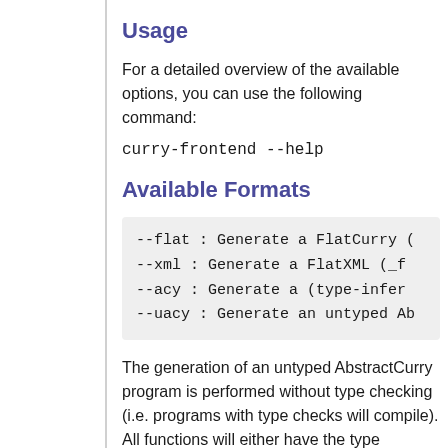Usage
For a detailed overview of the available options, you can use the following command:
curry-frontend --help
Available Formats
--flat  : Generate a FlatCurry (
--xml   : Generate a FlatXML (_f
--acy   : Generate a (type-infer
--uacy  : Generate an untyped Ab
The generation of an untyped AbstractCurry program is performed without type checking (i.e. programs with type checks will compile). All functions will either have the type signature specified in the source or, if not